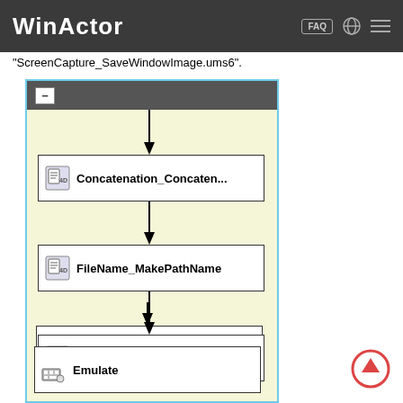WinActor
"ScreenCapture_SaveWindowImage.ums6".
[Figure (flowchart): WinActor flowchart showing sequence: Concatenation_Concaten..., FileName_MakePathName, ScreenCapture_SaveWin..., Image_Matching, Emulate]
[Figure (other): Scroll-up circular arrow button]